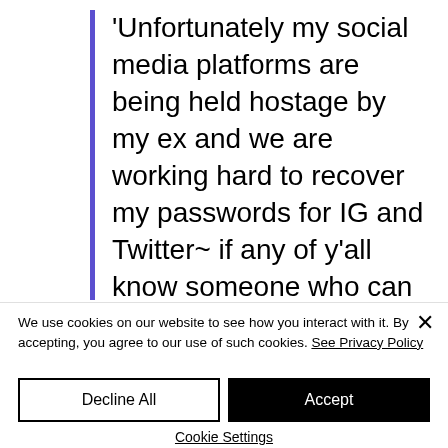'Unfortunately my social media platforms are being held hostage by my ex and we are working hard to recover my passwords for IG and Twitter~ if any of y'all know someone who can get it reset for me hit my brand
We use cookies on our website to see how you interact with it. By accepting, you agree to our use of such cookies. See Privacy Policy
Decline All
Accept
Cookie Settings